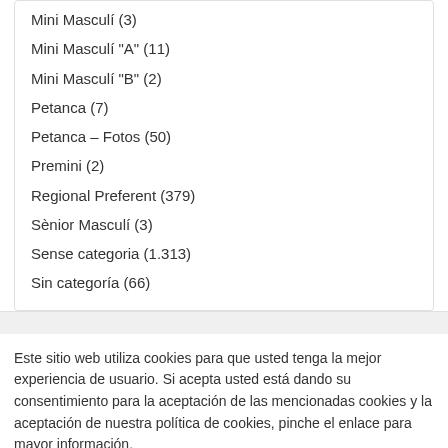Mini Masculí (3)
Mini Masculí "A" (11)
Mini Masculí "B" (2)
Petanca (7)
Petanca – Fotos (50)
Premini (2)
Regional Preferent (379)
Sènior Masculí (3)
Sense categoria (1.313)
Sin categoría (66)
Este sitio web utiliza cookies para que usted tenga la mejor experiencia de usuario. Si acepta usted está dando su consentimiento para la aceptación de las mencionadas cookies y la aceptación de nuestra política de cookies, pinche el enlace para mayor información.
CONFIGURACIÓN  ACEPTAR